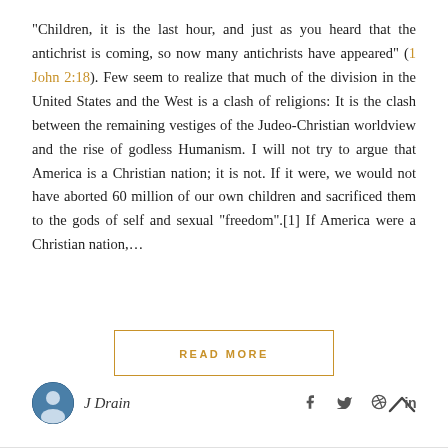“Children, it is the last hour, and just as you heard that the antichrist is coming, so now many antichrists have appeared” (1 John 2:18). Few seem to realize that much of the division in the United States and the West is a clash of religions: It is the clash between the remaining vestiges of the Judeo-Christian worldview and the rise of godless Humanism. I will not try to argue that America is a Christian nation; it is not. If it were, we would not have aborted 60 million of our own children and sacrificed them to the gods of self and sexual “freedom”.[1] If America were a Christian nation,…
READ MORE
J Drain